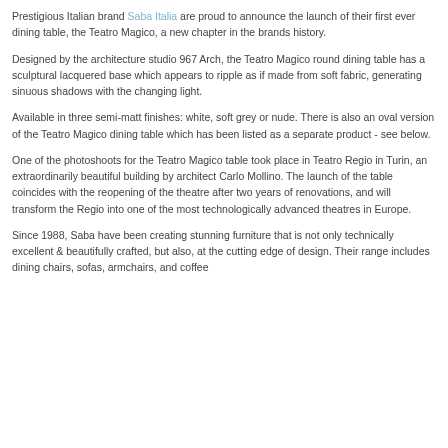Prestigious Italian brand Saba Italia are proud to announce the launch of their first ever dining table, the Teatro Magico, a new chapter in the brands history.
Designed by the architecture studio 967 Arch, the Teatro Magico round dining table has a sculptural lacquered base which appears to ripple as if made from soft fabric, generating sinuous shadows with the changing light.
Available in three semi-matt finishes: white, soft grey or nude. There is also an oval version of the Teatro Magico dining table which has been listed as a separate product - see below.
One of the photoshoots for the Teatro Magico table took place in Teatro Regio in Turin, an extraordinarily beautiful building by architect Carlo Mollino. The launch of the table coincides with the reopening of the theatre after two years of renovations, and will transform the Regio into one of the most technologically advanced theatres in Europe.
Since 1988, Saba have been creating stunning furniture that is not only technically excellent & beautifully crafted, but also, at the cutting edge of design. Their range includes dining chairs, sofas, armchairs, and coffee